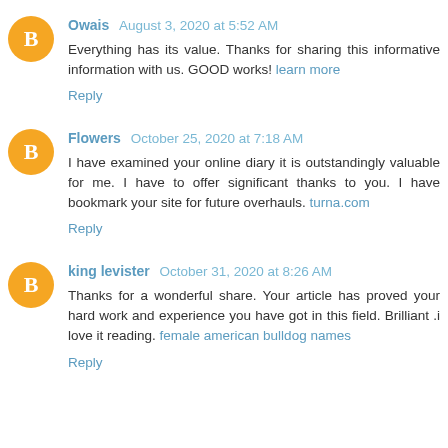Owais  August 3, 2020 at 5:52 AM
Everything has its value. Thanks for sharing this informative information with us. GOOD works! learn more
Reply
Flowers  October 25, 2020 at 7:18 AM
I have examined your online diary it is outstandingly valuable for me. I have to offer significant thanks to you. I have bookmark your site for future overhauls. turna.com
Reply
king levister  October 31, 2020 at 8:26 AM
Thanks for a wonderful share. Your article has proved your hard work and experience you have got in this field. Brilliant .i love it reading. female american bulldog names
Reply